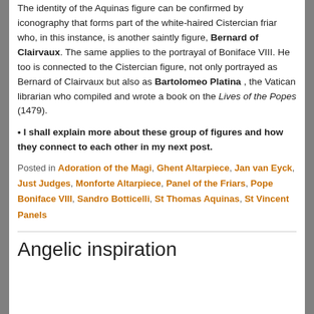The identity of the Aquinas figure can be confirmed by iconography that forms part of the white-haired Cistercian friar who, in this instance, is another saintly figure, Bernard of Clairvaux. The same applies to the portrayal of Boniface VIII. He too is connected to the Cistercian figure, not only portrayed as Bernard of Clairvaux but also as Bartolomeo Platina , the Vatican librarian who compiled and wrote a book on the Lives of the Popes (1479).
• I shall explain more about these group of figures and how they connect to each other in my next post.
Posted in Adoration of the Magi, Ghent Altarpiece, Jan van Eyck, Just Judges, Monforte Altarpiece, Panel of the Friars, Pope Boniface VIII, Sandro Botticelli, St Thomas Aquinas, St Vincent Panels
Angelic inspiration